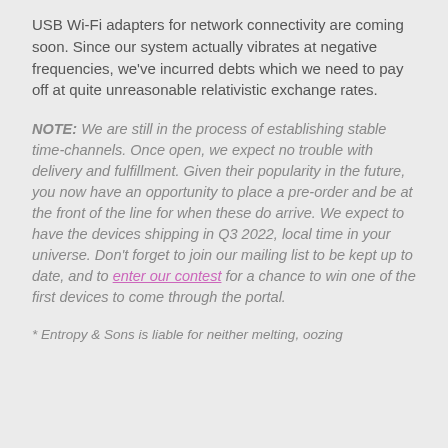USB Wi-Fi adapters for network connectivity are coming soon. Since our system actually vibrates at negative frequencies, we've incurred debts which we need to pay off at quite unreasonable relativistic exchange rates.
NOTE: We are still in the process of establishing stable time-channels. Once open, we expect no trouble with delivery and fulfillment. Given their popularity in the future, you now have an opportunity to place a pre-order and be at the front of the line for when these do arrive. We expect to have the devices shipping in Q3 2022, local time in your universe. Don't forget to join our mailing list to be kept up to date, and to enter our contest for a chance to win one of the first devices to come through the portal.
* Entropy & Sons is liable for neither melting, oozing